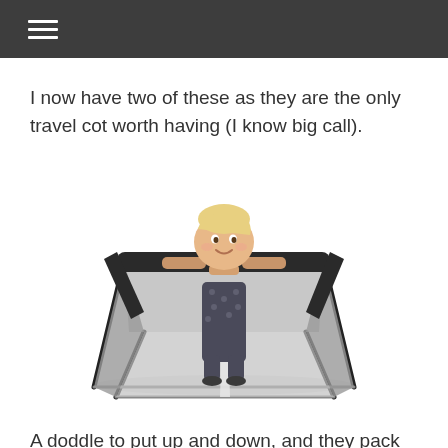≡
I now have two of these as they are the only travel cot worth having (I know big call).
[Figure (photo): A toddler with blonde hair standing inside a dark grey/black travel cot (portable baby playpen) with mesh sides and angled metal legs. The child is smiling and holding the padded top rail of the cot.]
A doddle to put up and down, and they pack away into a neat rectangular bag. My children sleep in them until they